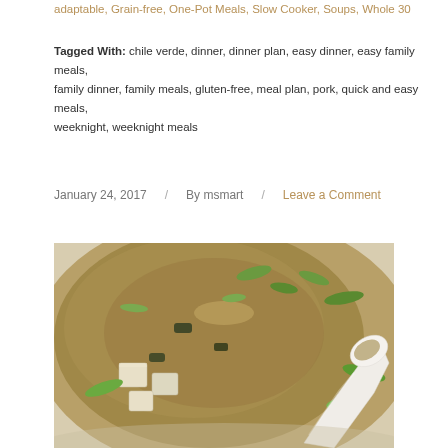adaptable, Grain-free, One-Pot Meals, Slow Cooker, Soups, Whole 30
Tagged With: chile verde, dinner, dinner plan, easy dinner, easy family meals, family dinner, family meals, gluten-free, meal plan, pork, quick and easy meals, weeknight, weeknight meals
January 24, 2017  /  By msmart  /  Leave a Comment
[Figure (photo): Close-up photo of a bowl of miso soup with tofu cubes, green onions, and a white ceramic spoon resting in the bowl, set against a light background]